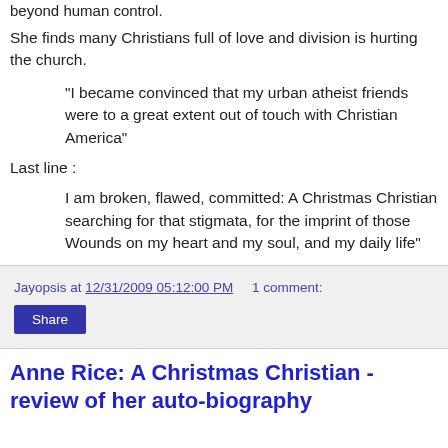beyond human control.
She finds many Christians full of love and division is hurting the church.
“I became convinced that my urban atheist friends were to a great extent out of touch with Christian America”
Last line :
I am broken, flawed, committed: A Christmas Christian searching for that stigmata, for the imprint of those Wounds on my heart and my soul, and my daily life”
Jayopsis at 12/31/2009 05:12:00 PM    1 comment:
Share
Anne Rice: A Christmas Christian - review of her auto-biography